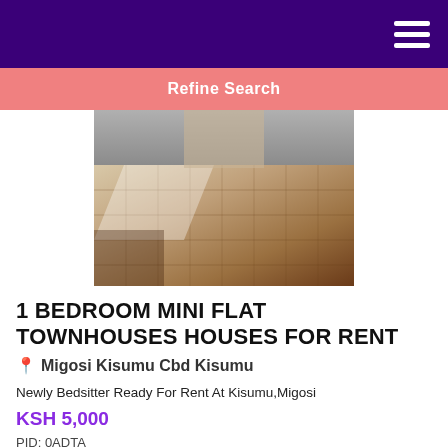Refine Search
[Figure (photo): Interior photo of a room with tiled floor showing a bedsitter/flat for rent]
1 BEDROOM MINI FLAT TOWNHOUSES HOUSES FOR RENT
Migosi Kisumu Cbd Kisumu
Newly Bedsitter Ready For Rent At Kisumu,Migosi
KSH 5,000
PID: 0ADTA